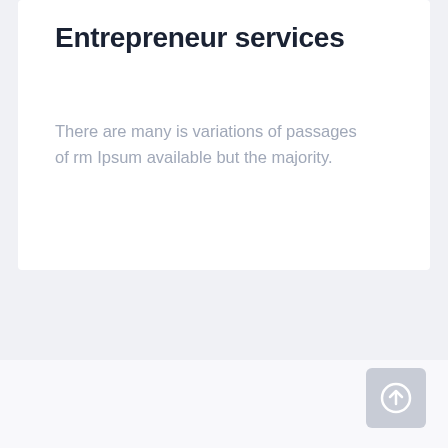Entrepreneur services
There are many is variations of passages of rm Ipsum available but the majority.